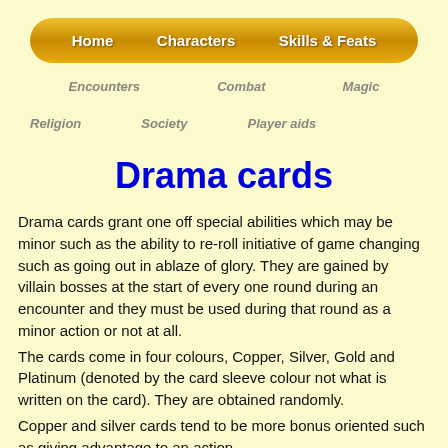Home | Characters | Skills & Feats
Encounters | Combat | Magic
Religion | Society | Player aids
Drama cards
Drama cards grant one off special abilities which may be minor such as the ability to re-roll initiative of game changing such as going out in ablaze of glory. They are gained by villain bosses at the start of every one round during an encounter and they must be used during that round as a minor action or not at all.
The cards come in four colours, Copper, Silver, Gold and Platinum (denoted by the card sleeve colour not what is written on the card). They are obtained randomly.
Copper and silver cards tend to be more bonus oriented such as giving advantage to an action